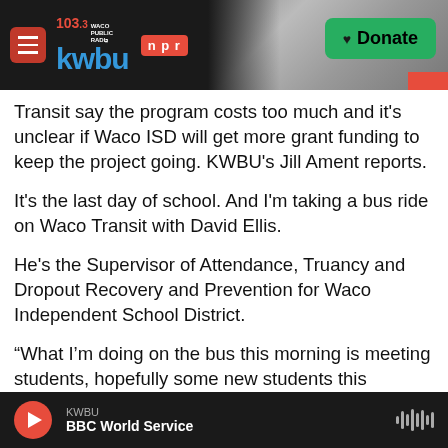[Figure (screenshot): KWBU 103.3 NPR radio station header with logo, hamburger menu, donate button, and industrial background photo]
Transit say the program costs too much and it's unclear if Waco ISD will get more grant funding to keep the project going. KWBU's Jill Ament reports.
It's the last day of school. And I'm taking a bus ride on Waco Transit with David Ellis.
He's the Supervisor of Attendance, Truancy and Dropout Recovery and Prevention for Waco Independent School District.
“What I’m doing on the bus this morning is meeting students, hopefully some new students this morning, talking to them, getting their name and
[Figure (screenshot): Audio player bar showing KWBU BBC World Service with red play button and waveform icon]